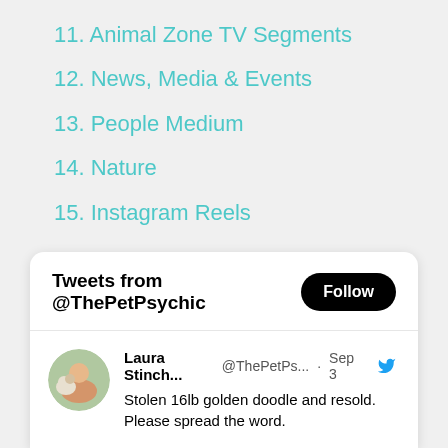11. Animal Zone TV Segments
12. News, Media & Events
13. People Medium
14. Nature
15. Instagram Reels
[Figure (screenshot): Twitter widget showing 'Tweets from @ThePetPsychic' with a Follow button, and a tweet by Laura Stinch... @ThePetPs... · Sep 3 reading: Stolen 16lb golden doodle and resold. Please spread the word.]